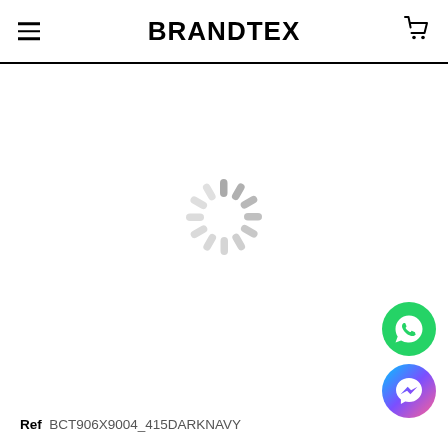BRANDTEX
[Figure (other): Loading spinner / activity indicator graphic in gray]
Ref  BCT906X9004_415DARKNAVY